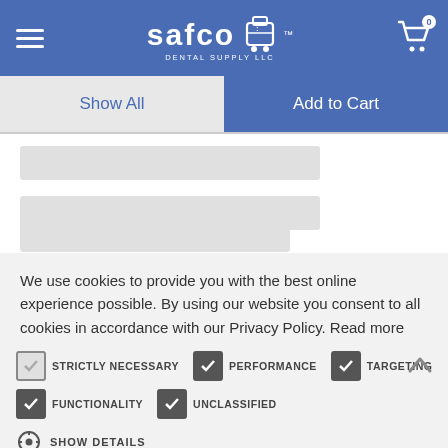Safco Dental Supply LLC — Show All | Add to Cart
We use cookies to provide you with the best online experience possible. By using our website you consent to all cookies in accordance with our Privacy Policy. Read more
STRICTLY NECESSARY
PERFORMANCE
TARGETING
FUNCTIONALITY
UNCLASSIFIED
SHOW DETAILS
ACCEPT ALL
DECLINE ALL